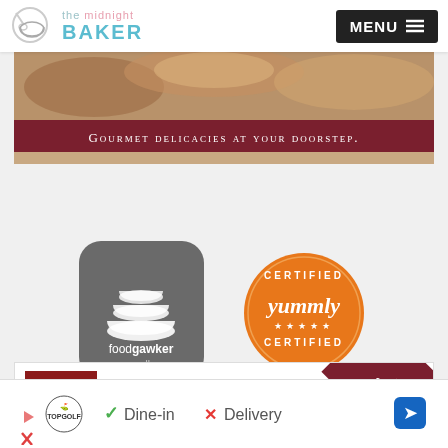the midnight BAKER | MENU
[Figure (illustration): Gourmet food ad banner showing bread/baked goods with dark red banner reading 'GOURMET DELICACIES AT YOUR DOORSTEP.']
[Figure (logo): foodgawker my gallery app icon - grey rounded square with white stacked bowls icon]
[Figure (logo): Yummly Certified badge - orange circle with CERTIFIED YUMMLY CERTIFIED text]
[Figure (illustration): Gourmet Food World ad banner with red crown logo and SHOP NOW diagonal ribbon banner]
[Figure (illustration): Bottom advertisement bar: TopGolf logo, checkmark Dine-in, X Delivery, blue diamond arrow icon]